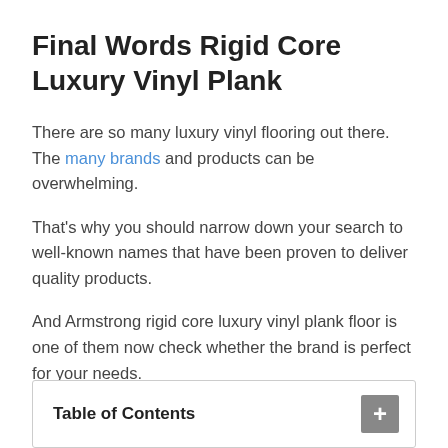Final Words Rigid Core Luxury Vinyl Plank
There are so many luxury vinyl flooring out there. The many brands and products can be overwhelming.
That's why you should narrow down your search to well-known names that have been proven to deliver quality products.
And Armstrong rigid core luxury vinyl plank floor is one of them now check whether the brand is perfect for your needs.
| Table of Contents | + |
| --- | --- |